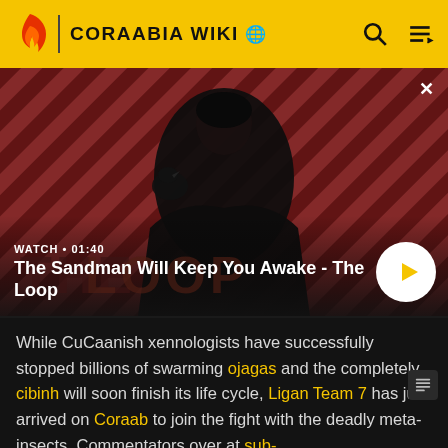CORAABIA WIKI
[Figure (screenshot): Video thumbnail showing a dark-cloaked figure with a bird on their shoulder against a red diagonal-striped background. Title: 'The Sandman Will Keep You Awake - The Loop'. Duration: 01:40.]
The Sandman Will Keep You Awake - The Loop
While CuCaanish xennologists have successfully stopped billions of swarming ojagas and the completely cibinh will soon finish its life cycle, Ligan Team 7 has just arrived on Coraab to join the fight with the deadly meta-insects. Commentators over at sub-